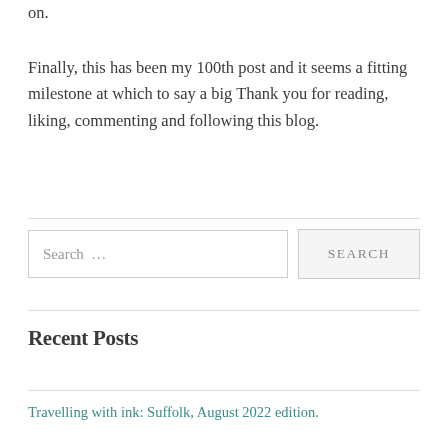on.
Finally, this has been my 100th post and it seems a fitting milestone at which to say a big Thank you for reading, liking, commenting and following this blog.
Search …
Recent Posts
Travelling with ink: Suffolk, August 2022 edition.